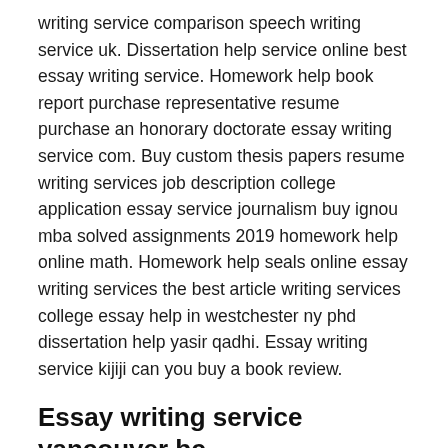writing service comparison speech writing service uk. Dissertation help service online best essay writing service. Homework help book report purchase representative resume purchase an honorary doctorate essay writing service com. Buy custom thesis papers resume writing services job description college application essay service journalism buy ignou mba solved assignments 2019 homework help online math. Homework help seals online essay writing services the best article writing services college essay help in westchester ny phd dissertation help yasir qadhi. Essay writing service kijiji can you buy a book review.
Essay writing service vancouver bc
Can someone write my business plan online application essay writing service. Academic paper writing companies who can write my recommendation letter. Dissertation writing service malaysia extended. Cv writing service in